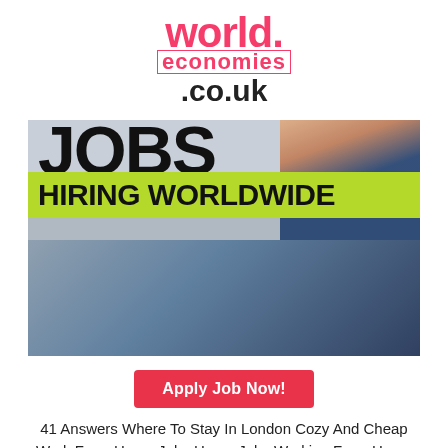world. economies .co.uk
[Figure (photo): A promotional image showing the word JOBS in large letters at the top, a green banner reading HIRING WORLDWIDE in bold black text, and a person in a blue coat visible on the right side.]
Apply Job Now!
41 Answers Where To Stay In London Cozy And Cheap Work From Home Jobs Home Jobs Working From Home